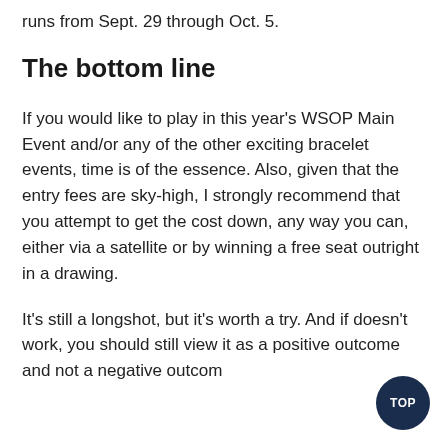runs from Sept. 29 through Oct. 5.
The bottom line
If you would like to play in this year's WSOP Main Event and/or any of the other exciting bracelet events, time is of the essence. Also, given that the entry fees are sky-high, I strongly recommend that you attempt to get the cost down, any way you can, either via a satellite or by winning a free seat outright in a drawing.
It's still a longshot, but it's worth a try. And if doesn't work, you should still view it as a positive outcome and not a negative outcom